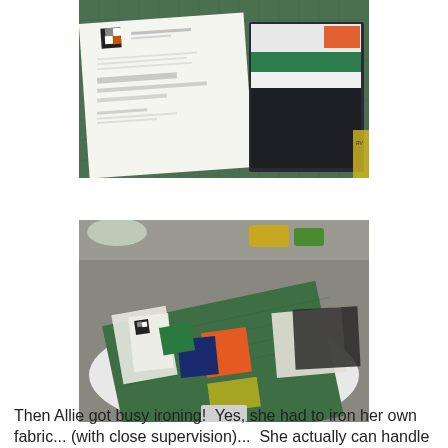[Figure (photo): Top-down photo of a quilt pattern instruction sheet with fabric swatches including dark, white, green, orange strips on a green cutting mat]
[Figure (photo): Photo of quilt fabric squares laid out on a green cutting mat on a round white table, with orange, navy, black, green, and white fabric pieces arranged in a pattern]
Then Allie got busy ironing!  Yes, she had to iron her own fabric... (with close supervision)...  She actually can handle